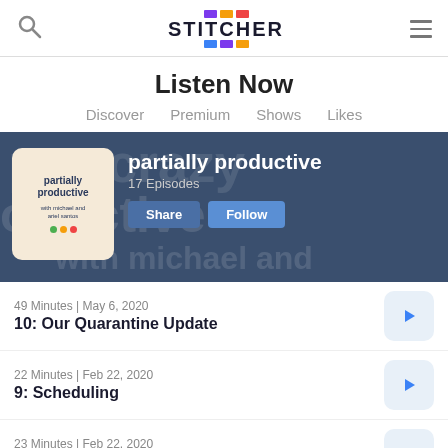Stitcher app header with search icon, Stitcher logo, and menu icon
Listen Now
Discover   Premium   Shows   Likes
[Figure (screenshot): Hero banner showing the 'partially productive' podcast with thumbnail artwork, 17 Episodes label, Share and Follow buttons, on a dark blue background with large watermark text.]
49 Minutes | May 6, 2020
10: Our Quarantine Update
22 Minutes | Feb 22, 2020
9: Scheduling
23 Minutes | Feb 22, 2020
8: Sleep
48 Minutes | Jan 29, 2020